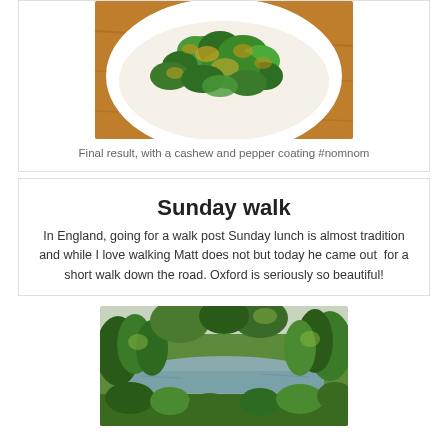[Figure (photo): A bowl of roasted broccoli with a cashew and pepper coating, photographed from above on a wooden table]
Final result, with a cashew and pepper coating #nomnom
Sunday walk
In England, going for a walk post Sunday lunch is almost tradition and while I love walking Matt does not but today he came out  for a short walk down the road. Oxford is seriously so beautiful!
[Figure (photo): A scenic landscape photo of a river or lake surrounded by lush green trees and vegetation, likely taken in Oxford, England]